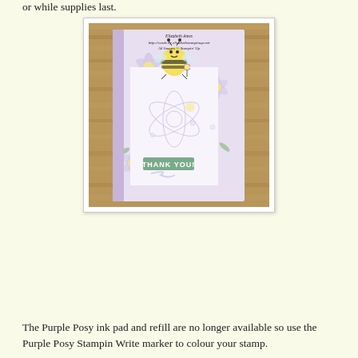or while supplies last.
[Figure (photo): Handmade greeting card with lavender floral patterned paper background, a cute cartoon bee holding a flower in the upper center, a purple ribbon strip on the left side, and a green 'THANK YOU' sentiment stamp in the lower portion. Watermark text reads: Elizabeth Ames, http://cards by elizabethstampinup.net, All Images © Stampin' Up]
The Purple Posy ink pad and refill are no longer available so use the Purple Posy Stampin Write marker to colour your stamp.